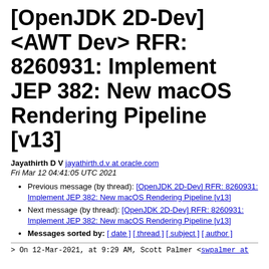[OpenJDK 2D-Dev] <AWT Dev> RFR: 8260931: Implement JEP 382: New macOS Rendering Pipeline [v13]
Jayathirth D V jayathirth.d.v at oracle.com
Fri Mar 12 04:41:05 UTC 2021
Previous message (by thread): [OpenJDK 2D-Dev] RFR: 8260931: Implement JEP 382: New macOS Rendering Pipeline [v13]
Next message (by thread): [OpenJDK 2D-Dev] RFR: 8260931: Implement JEP 382: New macOS Rendering Pipeline [v13]
Messages sorted by: [ date ] [ thread ] [ subject ] [ author ]
> On 12-Mar-2021, at 9:29 AM, Scott Palmer <swpalmer at